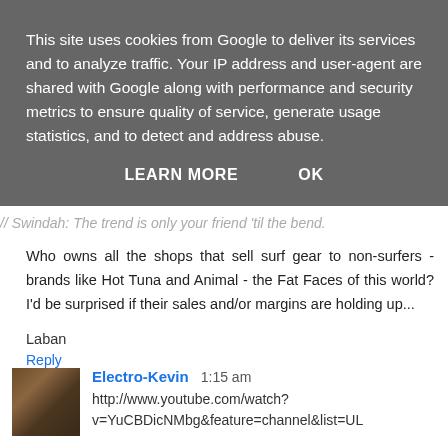This site uses cookies from Google to deliver its services and to analyze traffic. Your IP address and user-agent are shared with Google along with performance and security metrics to ensure quality of service, generate usage statistics, and to detect and address abuse.
LEARN MORE    OK
// Swindah: The trend is only your friend 'til the bend.
Who owns all the shops that sell surf gear to non-surfers - brands like Hot Tuna and Animal - the Fat Faces of this world? I'd be surprised if their sales and/or margins are holding up...
Laban
Reply
Electro-Kevin  1:15 am
http://www.youtube.com/watch?v=YuCBDicNMbg&feature=channel&list=UL